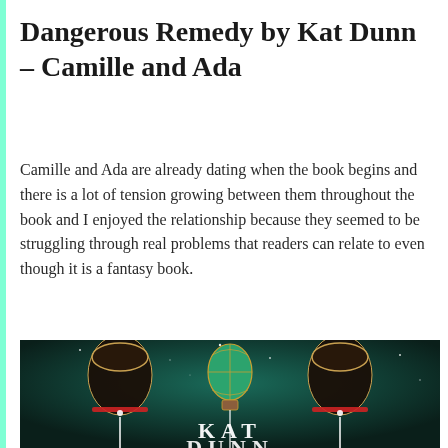Dangerous Remedy by Kat Dunn – Camille and Ada
Camille and Ada are already dating when the book begins and there is a lot of tension growing between them throughout the book and I enjoyed the relationship because they seemed to be struggling through real problems that readers can relate to even though it is a fantasy book.
[Figure (illustration): Book cover of 'Dangerous Remedy' by Kat Dunn showing two gloved hands holding strings of a green hot air balloon against a dark teal starry background, with the author name 'KAT DUNN' visible in large white letters at the bottom.]